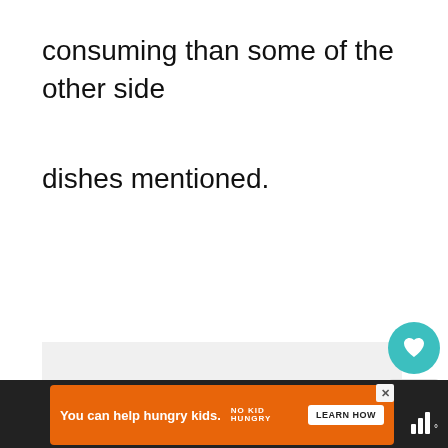consuming than some of the other side
dishes mentioned.
[Figure (screenshot): Website UI showing social action buttons (heart/like with teal background, count showing 7, share button) and a 'What's Next' recommendation panel showing 'What to Serve with Carne...' with a food thumbnail image.]
[Figure (infographic): Orange advertisement banner reading 'You can help hungry kids.' with No Kid Hungry logo and 'LEARN HOW' button, on dark footer background with app signal/weather icons.]